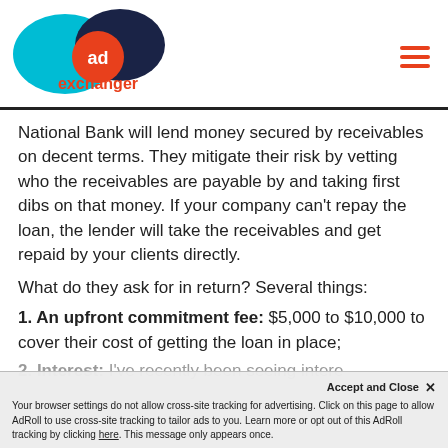ad exchanger
National Bank will lend money secured by receivables on decent terms. They mitigate their risk by vetting who the receivables are payable by and taking first dibs on that money. If your company can't repay the loan, the lender will take the receivables and get repaid by your clients directly.
What do they ask for in return? Several things:
1. An upfront commitment fee: $5,000 to $10,000 to cover their cost of getting the loan in place;
2. Interest: I've recently been seeing interest rates of prime plus 1% to 2%. Prime is currently 3.25%, but it changes over time...
Your browser settings do not allow cross-site tracking for advertising. Click on this page to allow AdRoll to use cross-site tracking to tailor ads to you. Learn more or opt out of this AdRoll tracking by clicking here. This message only appears once.